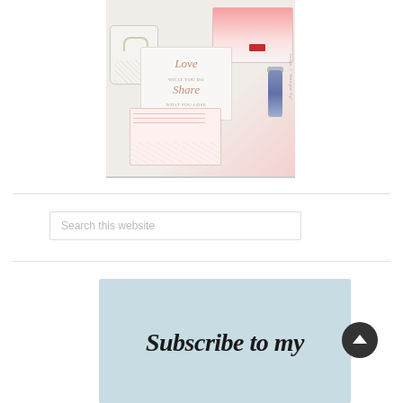[Figure (photo): Product photo showing a floral tote bag, pink gradient card, 'Love what you do, Share what you love' card, a blue tumbler, and a floral envelope notecard arranged on a white surface]
[Figure (screenshot): Search input box with placeholder text 'Search this website']
[Figure (illustration): Light blue banner with text 'Subscribe to my' in large italic bold serif font]
[Figure (other): Dark circular back-to-top button with upward arrow chevron]